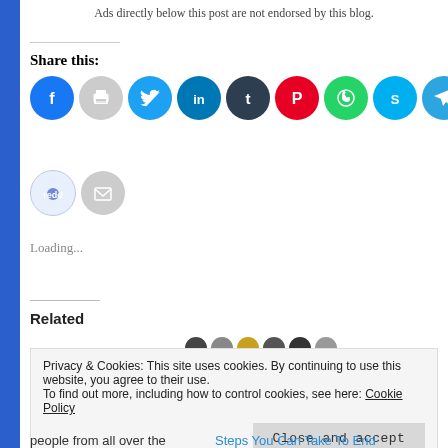Ads directly below this post are not endorsed by this blog.
Share this:
[Figure (infographic): Row of social media sharing icons: Facebook (blue), Print (gray), Twitter (cyan), LinkedIn (teal), Tumblr (dark navy), Pinterest (red), WhatsApp (green), Skype (light blue), Telegram (blue), Pocket (dark red). Second row: Reddit (light blue), Email (gray).]
Loading...
Related
Privacy & Cookies: This site uses cookies. By continuing to use this website, you agree to their use.
To find out more, including how to control cookies, see here: Cookie Policy
Close and accept
people from all over the
Steps You Can Take To End